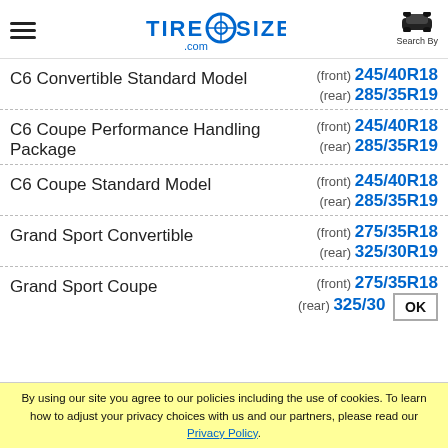TIRE SIZE .com — Search By
C6 Convertible Standard Model (front) 245/40R18 (rear) 285/35R19
C6 Coupe Performance Handling Package (front) 245/40R18 (rear) 285/35R19
C6 Coupe Standard Model (front) 245/40R18 (rear) 285/35R19
Grand Sport Convertible (front) 275/35R18 (rear) 325/30R19
Grand Sport Coupe (front) 275/35R18 (rear) 325/30R19
By using our site you agree to our policies including the use of cookies. To learn how to adjust your privacy choices with us and our partners, please read our Privacy Policy.